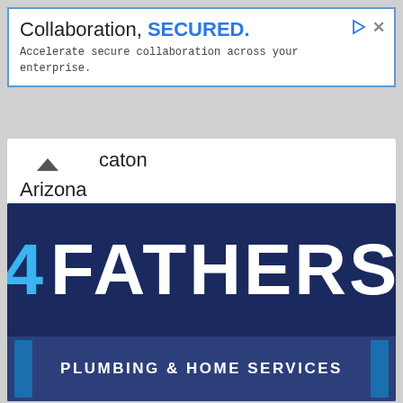[Figure (screenshot): Advertisement banner with blue border. Text reads 'Collaboration, SECURED.' with subtitle 'Accelerate secure collaboration across your enterprise.' Has play and close icons top right.]
caton
Arizona
85147
United States
Gift basket store (4Cast Gifts) in Sacaton, AZ 85147.   Read more...
[Figure (logo): 4 FATHERS PLUMBING & HOME SERVICES logo on dark navy blue background. '4' in blue, 'FATHERS' in white large bold text. Bottom bar shows 'PLUMBING & HOME SERVICES' in white on slightly lighter navy.]